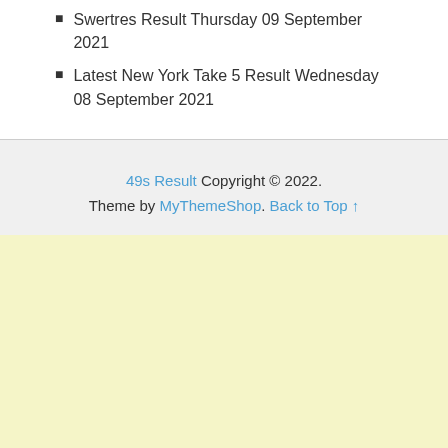Swertres Result Thursday 09 September 2021
Latest New York Take 5 Result Wednesday 08 September 2021
49s Result Copyright © 2022. Theme by MyThemeShop. Back to Top ↑